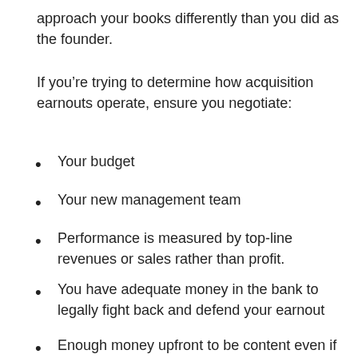approach your books differently than you did as the founder.
If you’re trying to determine how acquisition earnouts operate, ensure you negotiate:
Your budget
Your new management team
Performance is measured by top-line revenues or sales rather than profit.
You have adequate money in the bank to legally fight back and defend your earnout
Enough money upfront to be content even if you don’t get any earnout money